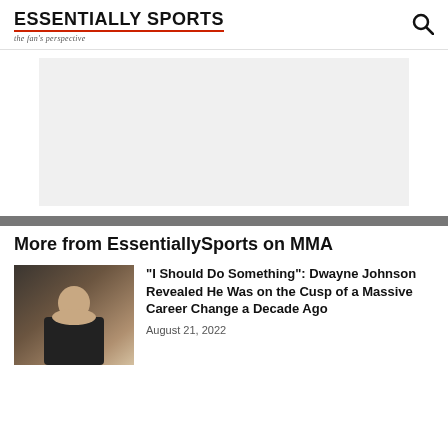ESSENTIALLY SPORTS — the fan's perspective
[Figure (other): Advertisement placeholder block]
More from EssentiallySports on MMA
[Figure (photo): Dwayne Johnson photo thumbnail]
“I Should Do Something”: Dwayne Johnson Revealed He Was on the Cusp of a Massive Career Change a Decade Ago
August 21, 2022